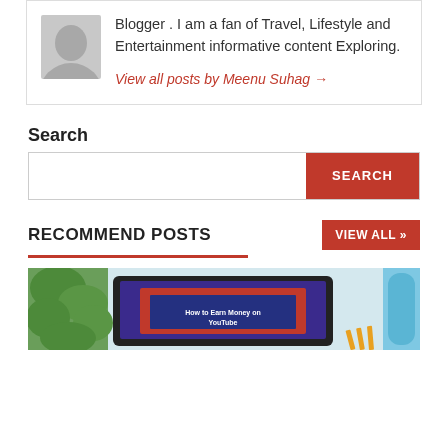Blogger . I am a fan of Travel, Lifestyle and Entertainment informative content Exploring.
View all posts by Meenu Suhag →
Search
RECOMMEND POSTS
[Figure (photo): Laptop showing 'How to Earn Money on YouTube' screen with plant and water bottle on a desk]
VIEW ALL »